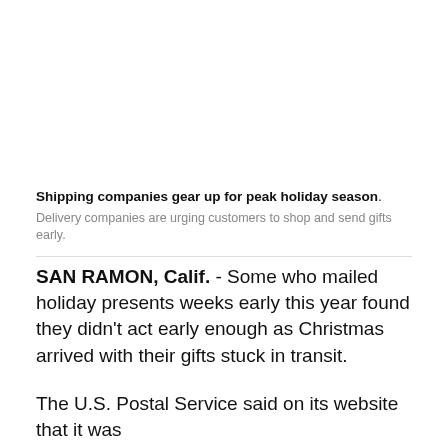Shipping companies gear up for peak holiday season. Delivery companies are urging customers to shop and send gifts early.
SAN RAMON, Calif. - Some who mailed holiday presents weeks early this year found they didn't act early enough as Christmas arrived with their gifts stuck in transit.
The U.S. Postal Service said on its website that it was